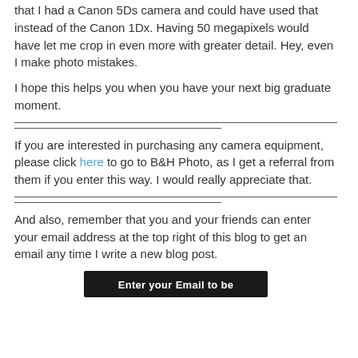that I had a Canon 5Ds camera and could have used that instead of the Canon 1Dx. Having 50 megapixels would have let me crop in even more with greater detail. Hey, even I make photo mistakes.
I hope this helps you when you have your next big graduate moment.
If you are interested in purchasing any camera equipment, please click here to go to B&H Photo, as I get a referral from them if you enter this way. I would really appreciate that.
And also, remember that you and your friends can enter your email address at the top right of this blog to get an email any time I write a new blog post.
[Figure (other): Dark button with text 'Enter your Email to be']